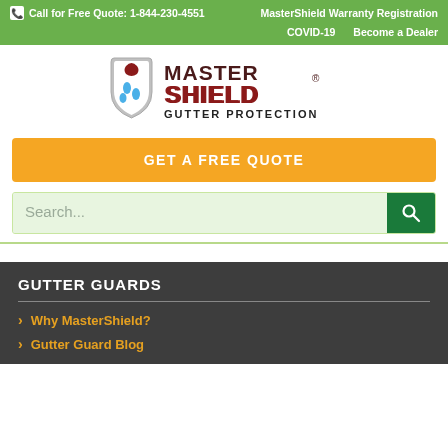Call for Free Quote: 1-844-230-4551   MasterShield Warranty Registration
COVID-19   Become a Dealer
[Figure (logo): MasterShield Gutter Protection logo with shield and water droplets]
GET A FREE QUOTE
Search...
GUTTER GUARDS
Why MasterShield?
Gutter Guard Blog